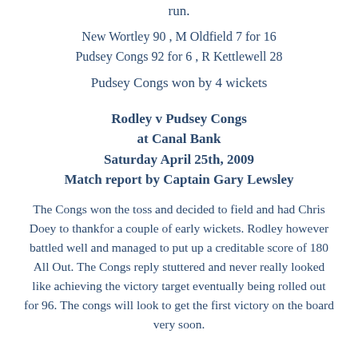run.
New Wortley 90 , M Oldfield 7 for 16
Pudsey Congs 92 for 6 ,  R Kettlewell 28
Pudsey Congs won by 4 wickets
Rodley v Pudsey Congs
at Canal Bank
Saturday April 25th, 2009
Match report by Captain Gary Lewsley
The Congs won the toss and decided to field and had Chris Doey to thankfor a couple of early wickets.  Rodley however battled well and managed to put up a creditable score of 180 All Out.  The Congs reply stuttered and never really looked like achieving the victory target eventually being rolled out for 96.  The congs will look to get the first victory on the board very soon.